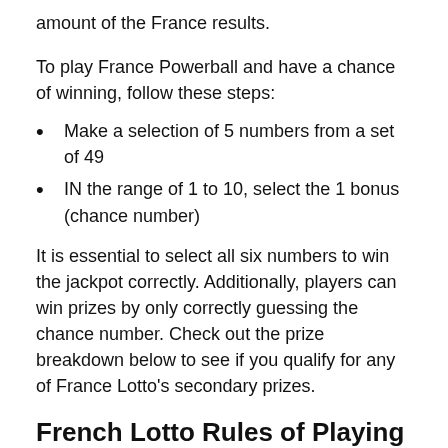amount of the France results.
To play France Powerball and have a chance of winning, follow these steps:
Make a selection of 5 numbers from a set of 49
IN the range of 1 to 10, select the 1 bonus (chance number)
It is essential to select all six numbers to win the jackpot correctly. Additionally, players can win prizes by only correctly guessing the chance number. Check out the prize breakdown below to see if you qualify for any of France Lotto's secondary prizes.
French Lotto Rules of Playing
There is a double matrix in France Lotto. However, if you